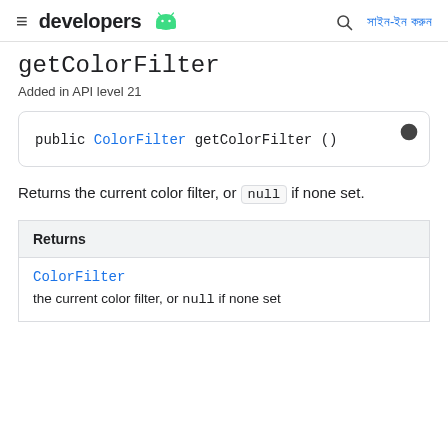≡ developers [android] Q সাইন-ইন করুন
getColorFilter
Added in API level 21
Returns the current color filter, or null if none set.
| Returns |
| --- |
| ColorFilter | the current color filter, or null if none set |